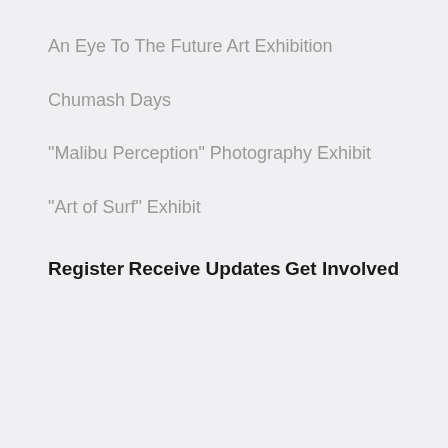An Eye To The Future Art Exhibition
Chumash Days
"Malibu Perception" Photography Exhibit
"Art of Surf" Exhibit
Register
Receive Updates
Get Involved